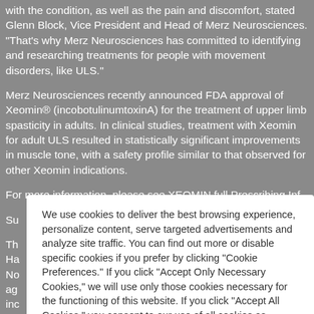with the condition, as well as the pain and discomfort, stated Glenn Block, Vice President and Head of Merz Neurosciences. "That's why Merz Neurosciences has committed to identifying and researching treatments for people with movement disorders, like ULS."
Merz Neurosciences recently announced FDA approval of Xeomin® (incobotulinumtoxinA) for the treatment of upper limb spasticity in adults. In clinical studies, treatment with Xeomin for adult ULS resulted in statistically significant improvements in muscle tone, with a safety profile similar to that observed for other Xeomin indications.
For more information, please see XEOMIN full Prescribing Inf
Su
Th Ha No ag inc
We use cookies to deliver the best browsing experience, personalize content, serve targeted advertisements and analyze site traffic. You can find out more or disable specific cookies if you prefer by clicking "Cookie Preferences." If you click "Accept Only Necessary Cookies," we will use only those cookies necessary for the functioning of this website. If you click "Accept All Cookies," you consent to our use of all cookies as described under "Cookie Preferences." You will